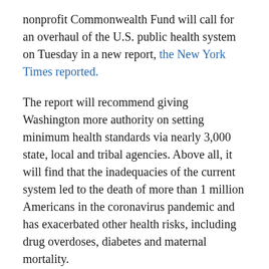nonprofit Commonwealth Fund will call for an overhaul of the U.S. public health system on Tuesday in a new report, the New York Times reported.
The report will recommend giving Washington more authority on setting minimum health standards via nearly 3,000 state, local and tribal agencies. Above all, it will find that the inadequacies of the current system led to the death of more than 1 million Americans in the coronavirus pandemic and has exacerbated other health risks, including drug overdoses, diabetes and maternal mortality.
It will also address the reluctance of officials in some Republican-led states to cooperate with agencies like the CDC during the pandemic. It will cite “archaic approaches to aggregative data” as one reason so many people died in America.